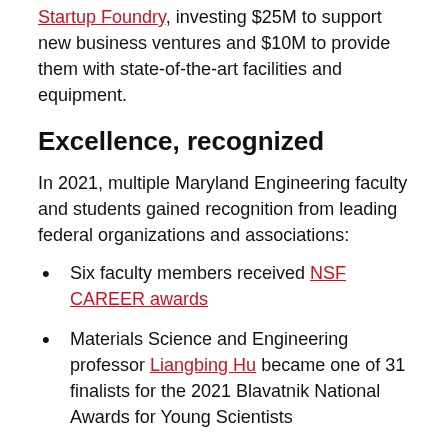Startup Foundry, investing $25M to support new business ventures and $10M to provide them with state-of-the-art facilities and equipment.
Excellence, recognized
In 2021, multiple Maryland Engineering faculty and students gained recognition from leading federal organizations and associations:
Six faculty members received NSF CAREER awards
Materials Science and Engineering professor Liangbing Hu became one of 31 finalists for the 2021 Blavatnik National Awards for Young Scientists